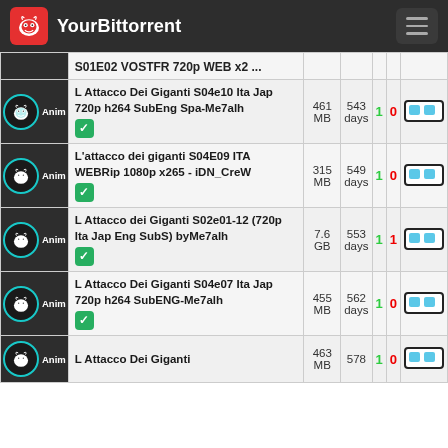YourBittorrent
| Icon | Name | Size | Age | S | L |  |
| --- | --- | --- | --- | --- | --- | --- |
| Anim | S01E02 VOSTFR 720p WEB x2 ... |  |  |  |  |  |
| Anim | L Attacco Dei Giganti S04e10 Ita Jap 720p h264 SubEng Spa-Me7alh ✓ | 461 MB | 543 days | 1 | 0 |  |
| Anim | L'attacco dei giganti S04E09 ITA WEBRip 1080p x265 - iDN_CreW ✓ | 315 MB | 549 days | 1 | 0 |  |
| Anim | L Attacco dei Giganti S02e01-12 (720p Ita Jap Eng SubS) byMe7alh ✓ | 7.6 GB | 553 days | 1 | 1 |  |
| Anim | L Attacco Dei Giganti S04e07 Ita Jap 720p h264 SubENG-Me7alh ✓ | 455 MB | 562 days | 1 | 0 |  |
| Anim | L Attacco Dei Giganti | 463 MB | 578 | 1 | 0 |  |